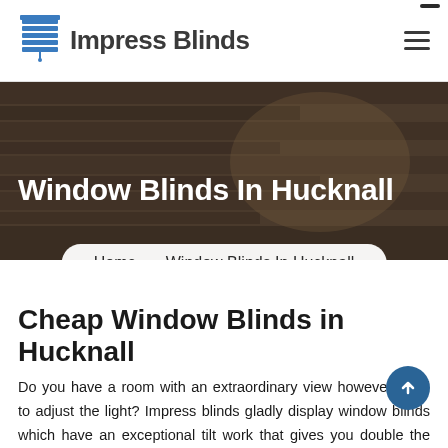[Figure (logo): Impress Blinds logo with blind icon on the left and text 'Impress Blinds' on the right]
[Figure (photo): Dark hero background image showing window blinds in a dim/dark setting]
Window Blinds In Hucknall
Home > Window Blinds In Hucknall
Cheap Window Blinds in Hucknall
Do you have a room with an extraordinary view however need to adjust the light? Impress blinds gladly display window blinds which have an exceptional tilt work that gives you double the perspective of ordinary window blinds with light control and privacy when you require it. Decisions so significant in design, the opportunity to mix things up and blend has never been more direct — a new differentiation. The